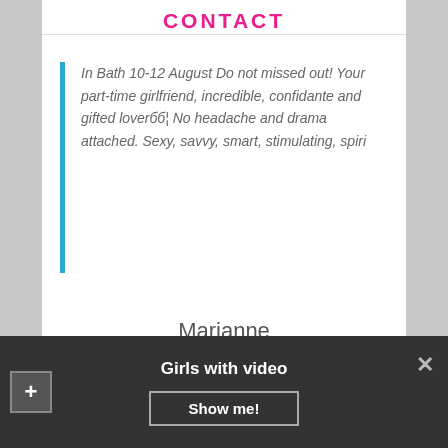CONTACT
In Bath 10-12 August Do not missed out! Your part-time girlfriend, incredible, confidante and gifted loverбб¦ No headache and drama attached. Sexy, savvy, smart, stimulating, spiri
Marianne
[Figure (photo): Woman wearing a black pirate hat with gold trim, photographed outdoors near green foliage]
Girls with video
Show me!